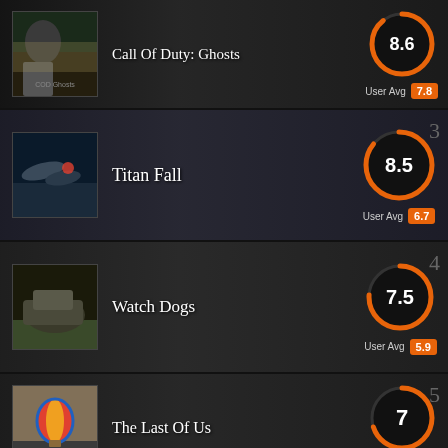[Figure (infographic): Call of Duty: Ghosts game entry with score 8.6 and user avg 7.8, rank 2]
[Figure (infographic): Titan Fall game entry with score 8.5 and user avg 6.7, rank 3]
[Figure (infographic): Watch Dogs game entry with score 7.5 and user avg 5.9, rank 4]
[Figure (infographic): The Last Of Us game entry with score 7 and user avg 4.8, rank 5]